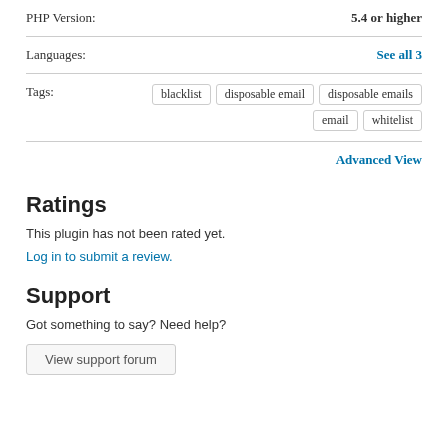PHP Version:	5.4 or higher
Languages:	See all 3
Tags:	blacklist, disposable email, disposable emails, email, whitelist
Advanced View
Ratings
This plugin has not been rated yet.
Log in to submit a review.
Support
Got something to say? Need help?
View support forum